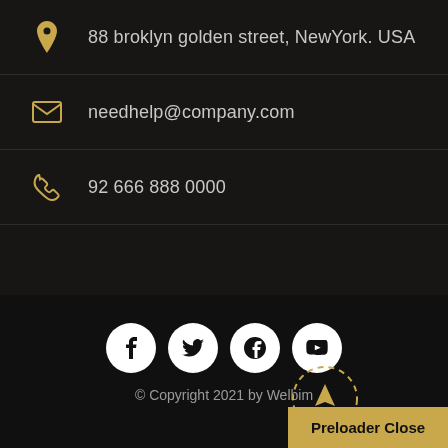88 broklyn golden street, NewYork. USA
needhelp@company.com
92 666 888 0000
[Figure (other): Social media icons: Facebook, Twitter, Google+, YouTube (white circles on dark background)]
© Copyright 2021 by Welbim
Preloader Close